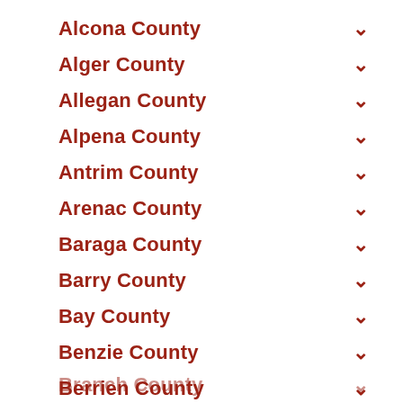Alcona County
Alger County
Allegan County
Alpena County
Antrim County
Arenac County
Baraga County
Barry County
Bay County
Benzie County
Berrien County
Branch County